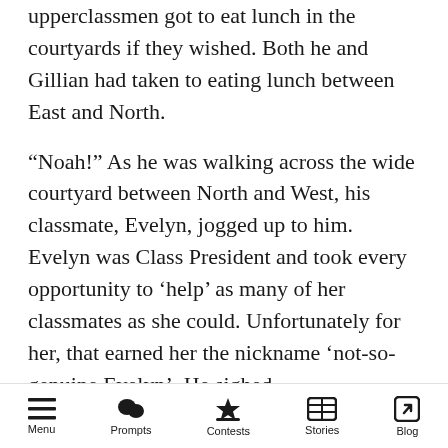upperclassmen got to eat lunch in the courtyards if they wished. Both he and Gillian had taken to eating lunch between East and North.
“Noah!” As he was walking across the wide courtyard between North and West, his classmate, Evelyn, jogged up to him. Evelyn was Class President and took every opportunity to ‘help’ as many of her classmates as she could. Unfortunately for her, that earned her the nickname ‘not-so-genuine Evelyn’. He sighed.
“What’s up Evie?” Her perky smile didn’t dim at the shortened version of her name. Even though it was something that she told everyone was her
Menu  Prompts  Contests  Stories  Blog